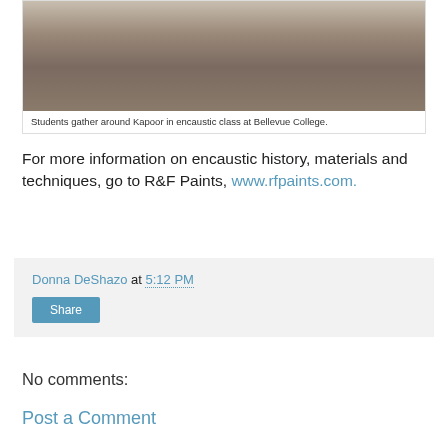[Figure (photo): Students gather around an instructor (Kapoor) at a table with equipment in an encaustic class at Bellevue College. Several people are visible standing around a work table with art equipment.]
Students gather around Kapoor in encaustic class at Bellevue College.
For more information on encaustic history, materials and techniques, go to R&F Paints, www.rfpaints.com.
Donna DeShazo at 5:12 PM
Share
No comments:
Post a Comment